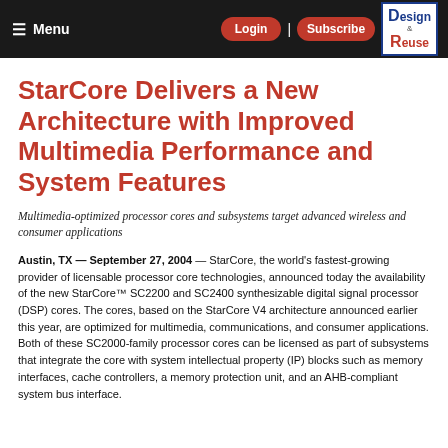Menu | Login | Subscribe | Design & Reuse
StarCore Delivers a New Architecture with Improved Multimedia Performance and System Features
Multimedia-optimized processor cores and subsystems target advanced wireless and consumer applications
Austin, TX — September 27, 2004 — StarCore, the world's fastest-growing provider of licensable processor core technologies, announced today the availability of the new StarCore™ SC2200 and SC2400 synthesizable digital signal processor (DSP) cores. The cores, based on the StarCore V4 architecture announced earlier this year, are optimized for multimedia, communications, and consumer applications. Both of these SC2000-family processor cores can be licensed as part of subsystems that integrate the core with system intellectual property (IP) blocks such as memory interfaces, cache controllers, a memory protection unit, and an AHB-compliant system bus interface.